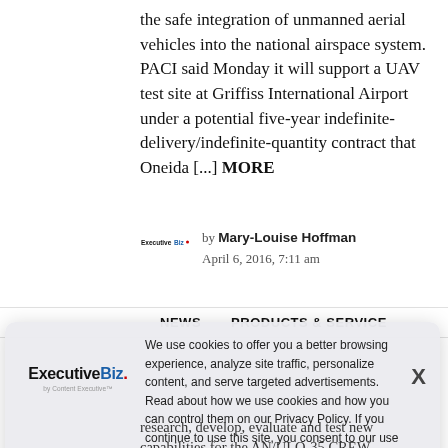the safe integration of unmanned aerial vehicles into the national airspace system. PACI said Monday it will support a UAV test site at Griffiss International Airport under a potential five-year indefinite-delivery/indefinite-quantity contract that Oneida [...] MORE
by Mary-Louise Hoffman
April 6, 2016, 7:11 am
NEWS    PRODUCTS & SERVICE
We use cookies to offer you a better browsing experience, analyze site traffic, personalize content, and serve targeted advertisements. Read about how we use cookies and how you can control them on our Privacy Policy. If you continue to use this site, you consent to our use of cookies.
research, develop, evaluate and test new capabilities for the AN/ULQ-35 CREW